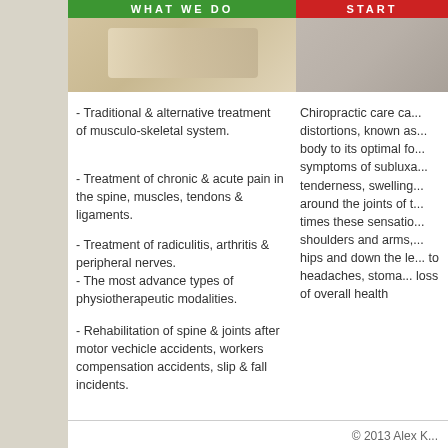[Figure (photo): Green banner with 'WHAT WE DO' text and photo of hands below]
[Figure (photo): Red banner with 'START' text and photo of person below]
- Traditional & alternative treatment of musculo-skeletal system.
- Treatment of chronic & acute pain in the spine, muscles, tendons & ligaments.
- Treatment of radiculitis, arthritis & peripheral nerves.
- The most advance types of physiotherapeutic modalities.
- Rehabilitation of spine & joints after motor vechicle accidents, workers compensation accidents, slip & fall incidents.
Chiropractic care ca... distortions, known as... body to its optimal fo... symptoms of subluxa... tenderness, swelling... around the joints of t... times these sensatio... shoulders and arms,... hips and down the le... to headaches, stoma... loss of overall health
© 2013 Alex K...